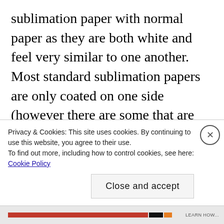sublimation paper with normal paper as they are both white and feel very similar to one another.  Most standard sublimation papers are only coated on one side (however there are some that are coated on both sides).  You can compare the two sides of the paper to tell sublimation paper and plain paper apart.  The coated side is usually brighter than the uncoated side.  With plain papers, both sides will be the same brightness.
Privacy & Cookies: This site uses cookies. By continuing to use this website, you agree to their use.
To find out more, including how to control cookies, see here: Cookie Policy
Close and accept